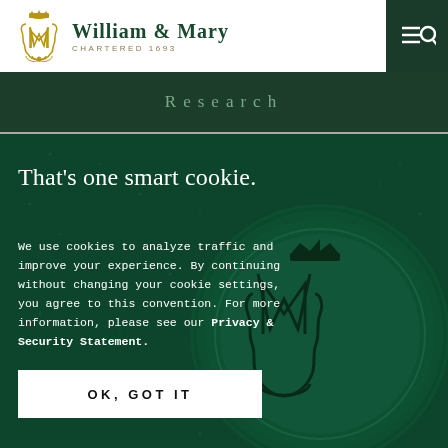William & Mary — Chartered 1693
Research
[Figure (illustration): Dark green background with William & Mary royal wax seal stamp showing intertwined W&M monogram with crown, textured green surface]
That's one smart cookie.
We use cookies to analyze traffic and improve your experience. By continuing without changing your cookie settings, you agree to this convention. For more information, please see our Privacy & Security Statement.
OK, GOT IT